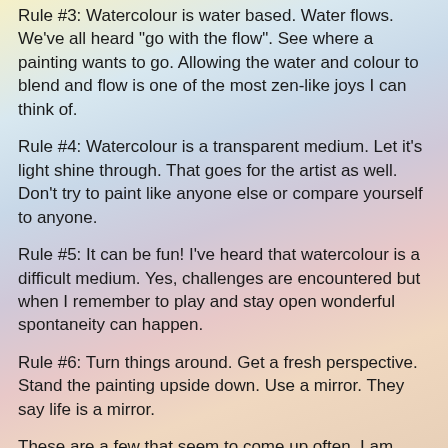Rule #3:  Watercolour is water based. Water flows. We've all heard "go with the flow". See where a painting wants to go. Allowing the water and colour to blend and flow is one of the most zen-like joys I can think of.
Rule #4: Watercolour is a transparent medium. Let it's light shine through. That goes for the artist as well. Don't try to paint like anyone else or compare yourself to anyone.
Rule #5:  It can be fun! I've heard that watercolour is a difficult medium. Yes, challenges are encountered but when I remember to play and stay open wonderful spontaneity can happen.
Rule #6:  Turn things around. Get a fresh perspective. Stand the painting upside down. Use a mirror. They say life is a mirror.
These are a few that seem to come up often. I am sure there are more. I'm also open to observations from other painters.The creative path is if nothing else, quite the journey!